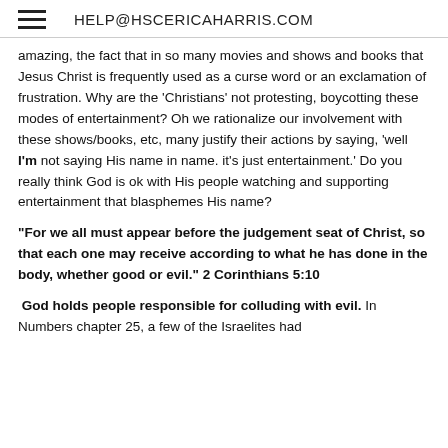HELP@HSCERICAHARRIS.COM
amazing, the fact that in so many movies and shows and books that Jesus Christ is frequently used as a curse word or an exclamation of frustration. Why are the 'Christians' not protesting, boycotting these modes of entertainment? Oh we rationalize our involvement with these shows/books, etc, many justify their actions by saying, 'well I'm not saying His name in name. it's just entertainment.' Do you really think God is ok with His people watching and supporting entertainment that blasphemes His name?
"For we all must appear before the judgement seat of Christ, so that each one may receive according to what he has done in the body, whether good or evil." 2 Corinthians 5:10
God holds people responsible for colluding with evil. In Numbers chapter 25, a few of the Israelites had